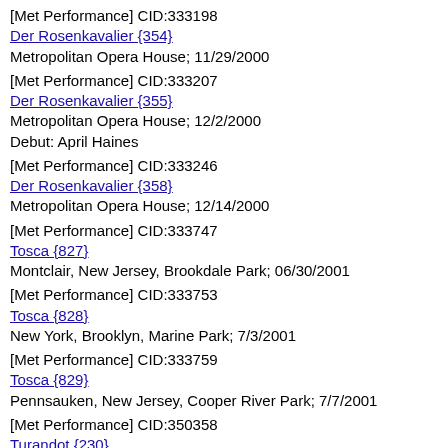[Met Performance] CID:333198
Der Rosenkavalier {354}
Metropolitan Opera House; 11/29/2000
[Met Performance] CID:333207
Der Rosenkavalier {355}
Metropolitan Opera House; 12/2/2000
Debut: April Haines
[Met Performance] CID:333246
Der Rosenkavalier {358}
Metropolitan Opera House; 12/14/2000
[Met Performance] CID:333747
Tosca {827}
Montclair, New Jersey, Brookdale Park; 06/30/2001
[Met Performance] CID:333753
Tosca {828}
New York, Brooklyn, Marine Park; 7/3/2001
[Met Performance] CID:333759
Tosca {829}
Pennsauken, New Jersey, Cooper River Park; 7/7/2001
[Met Performance] CID:350358
Turandot {230}
Metropolitan Opera House; 10/15/2002
[Met Performance] CID:350361
Turandot {231}